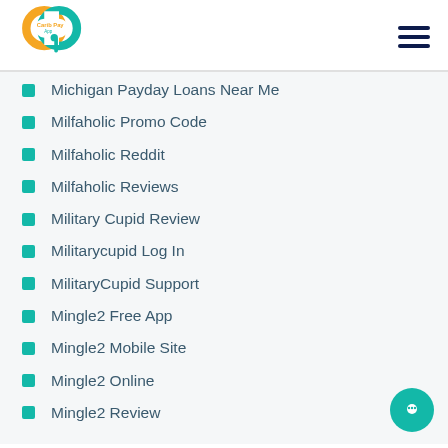Carib Pay App
Michigan Payday Loans Near Me
Milfaholic Promo Code
Milfaholic Reddit
Milfaholic Reviews
Military Cupid Review
Militarycupid Log In
MilitaryCupid Support
Mingle2 Free App
Mingle2 Mobile Site
Mingle2 Online
Mingle2 Review